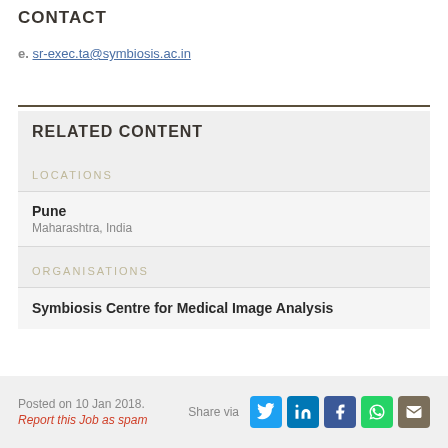CONTACT
e. sr-exec.ta@symbiosis.ac.in
RELATED CONTENT
LOCATIONS
Pune
Maharashtra, India
ORGANISATIONS
Symbiosis Centre for Medical Image Analysis
Posted on 10 Jan 2018.
Report this Job as spam
Share via